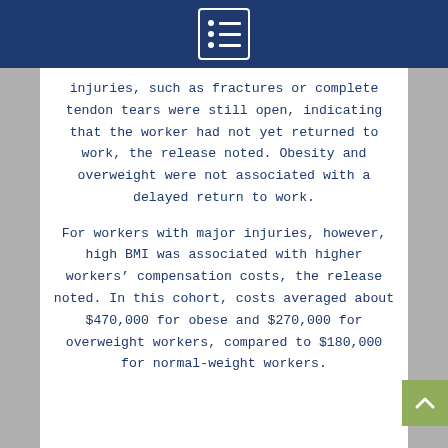injuries, such as fractures or complete tendon tears were still open, indicating that the worker had not yet returned to work, the release noted. Obesity and overweight were not associated with a delayed return to work.
For workers with major injuries, however, high BMI was associated with higher workers’ compensation costs, the release noted. In this cohort, costs averaged about $470,000 for obese and $270,000 for overweight workers, compared to $180,000 for normal-weight workers.